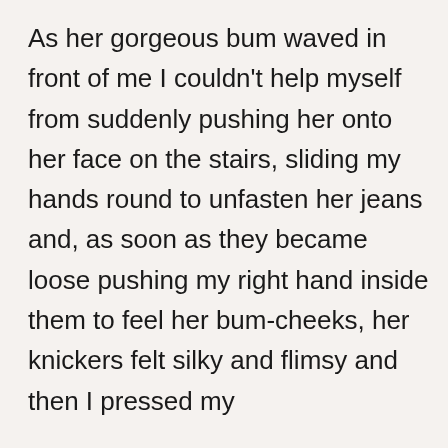As her gorgeous bum waved in front of me I couldn't help myself from suddenly pushing her onto her face on the stairs, sliding my hands round to unfasten her jeans and, as soon as they became loose pushing my right hand inside them to feel her bum-cheeks, her knickers felt silky and flimsy and then I pressed my